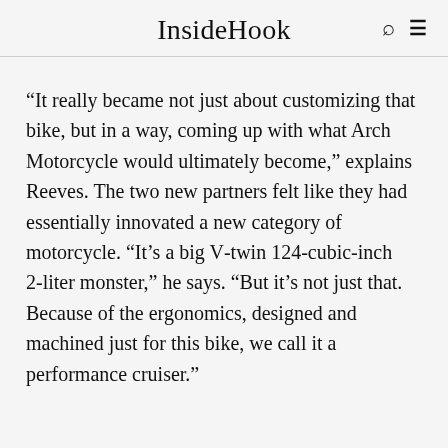InsideHook
“It really became not just about customizing that bike, but in a way, coming up with what Arch Motorcycle would ultimately become,” explains Reeves. The two new partners felt like they had essentially innovated a new category of motorcycle. “It’s a big V-twin 124-cubic-inch 2-liter monster,” he says. “But it’s not just that. Because of the ergonomics, designed and machined just for this bike, we call it a performance cruiser.”